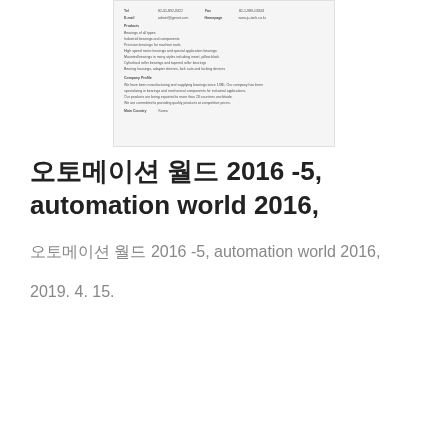[Figure (screenshot): A blurred document page showing contact information fields (Tel, Fax, E-mail, Homepage), Products section, Company Profile section, and Main Country field with Korean/English text]
오토메이션 월드 2016 -5, automation world 2016,
오토메이션 월드 2016 -5, automation world 2016,
2019. 4. 15.